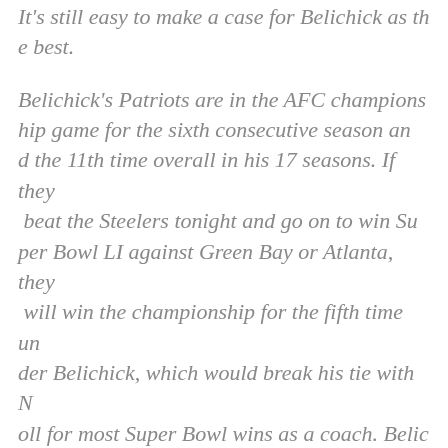It's still easy to make a case for Belichick as the best.
Belichick's Patriots are in the AFC championship game for the sixth consecutive season and the 11th time overall in his 17 seasons. If they beat the Steelers tonight and go on to win Super Bowl LI against Green Bay or Atlanta, they will win the championship for the fifth time under Belichick, which would break his tie with Noll for most Super Bowl wins as a coach. Belichick's 24 postseason wins are a record and his 237 regular-season wins rank fourth all time. His record with the Patriots is 201-